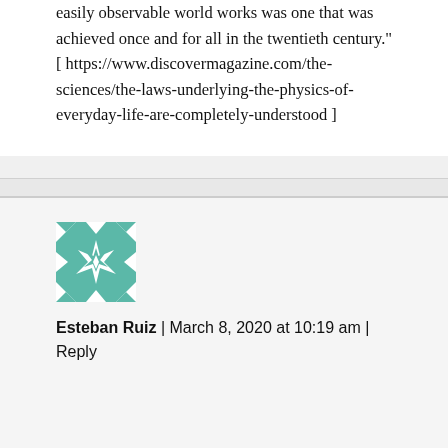easily observable world works was one that was achieved once and for all in the twentieth century." [ https://www.discovermagazine.com/the-sciences/the-laws-underlying-the-physics-of-everyday-life-are-completely-understood ]
[Figure (illustration): Geometric quilt-pattern avatar icon in teal/white square, featuring star and arrow motifs]
Esteban Ruiz | March 8, 2020 at 10:19 am | Reply